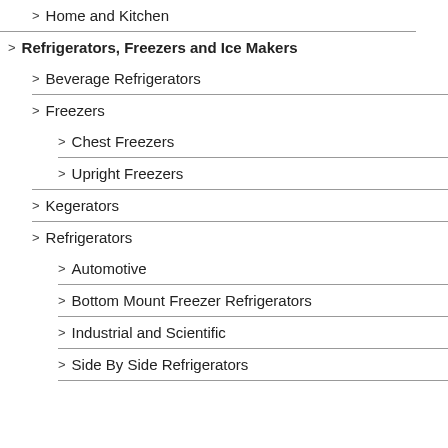> Home and Kitchen
> Refrigerators, Freezers and Ice Makers
> Beverage Refrigerators
> Freezers
> Chest Freezers
> Upright Freezers
> Kegerators
> Refrigerators
> Automotive
> Bottom Mount Freezer Refrigerators
> Industrial and Scientific
> Side By Side Refrigerators